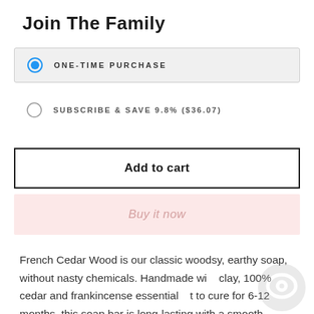Join The Family
ONE-TIME PURCHASE (selected)
SUBSCRIBE & SAVE 9.8% ($36.07)
Add to cart
Buy it now
French Cedar Wood is our classic woodsy, earthy soap, without nasty chemicals. Handmade with clay, 100% cedar and frankincense essential to cure for 6-12 months, this soap bar is long-lasting with a smooth, luscious lather.